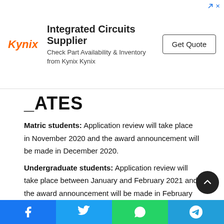[Figure (other): Kynix advertisement banner: Integrated Circuits Supplier, Check Part Availability & Inventory from Kynix Kynix, Get Quote button]
DATES
Matric students: Application review will take place in November 2020 and the award announcement will be made in December 2020. Undergraduate students: Application review will take place between January and February 2021 and the award announcement will be made in February 2021.
ELIGIBILITY REQUIREMENTS
Applicants must satisfy the following minimum entry